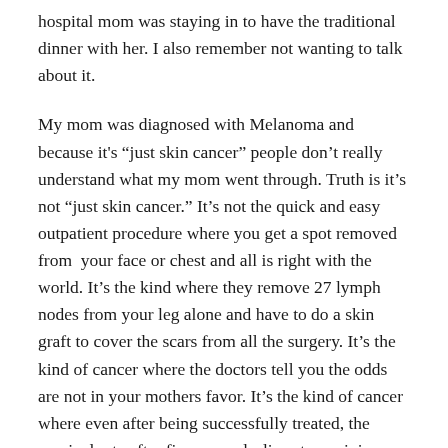hospital mom was staying in to have the traditional dinner with her. I also remember not wanting to talk about it.
My mom was diagnosed with Melanoma and because it’s “just skin cancer” people don’t really understand what my mom went through. Truth is it’s not “just skin cancer.” It’s not the quick and easy outpatient procedure where you get a spot removed from  your face or chest and all is right with the world. It’s the kind where they remove 27 lymph nodes from your leg alone and have to do a skin graft to cover the scars from all the surgery. It’s the kind of cancer where the doctors tell you the odds are not in your mothers favor. It’s the kind of cancer where even after being successfully treated, the survival rate after five years declines to a minimum, more odds not in her favor. Mom spent 4 months in the hospital and completed 18 months of chemotherapy. Chemo was a long road. It caused blisters in her mouth and her hair to thin out significantly. She couldn’t keep food